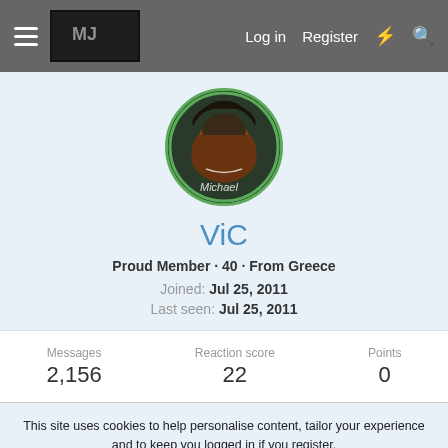Log in  Register
[Figure (photo): Circular avatar photo of a person with 'Michael' text overlay, with green circular border]
ViC
Proud Member · 40 · From Greece
Joined: Jul 25, 2011
Last seen: Jul 25, 2011
| Messages | Reaction score | Points |
| --- | --- | --- |
| 2,156 | 22 | 0 |
This site uses cookies to help personalise content, tailor your experience and to keep you logged in if you register. By continuing to use this site, you are consenting to our use of cookies.